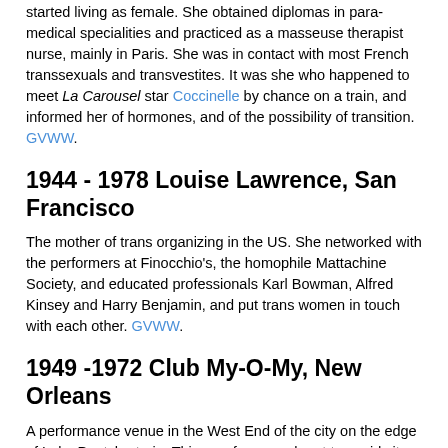started living as female. She obtained diplomas in para-medical specialities and practiced as a masseuse therapist nurse, mainly in Paris. She was in contact with most French transsexuals and transvestites. It was she who happened to meet La Carousel star Coccinelle by chance on a train, and informed her of hormones, and of the possibility of transition. GVWW.
1944 - 1978 Louise Lawrence, San Francisco
The mother of trans organizing in the US. She networked with the performers at Finocchio's, the homophile Mattachine Society, and educated professionals Karl Bowman, Alfred Kinsey and Harry Benjamin, and put trans women in touch with each other. GVWW.
1949 -1972 Club My-O-My, New Orleans
A performance venue in the West End of the city on the edge of Lake Pontchartrain. This was far enough out to avoid city rules and police harassment. For several decades